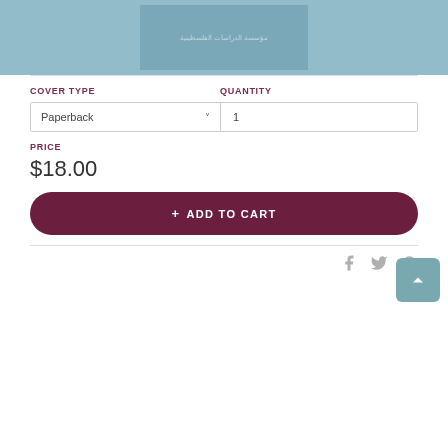[Figure (illustration): Book cover image with light blue background and a smaller teal rectangle in the center containing Arabic text]
COVER TYPE
QUANTITY
Paperback
1
PRICE
$18.00
+ ADD TO CART